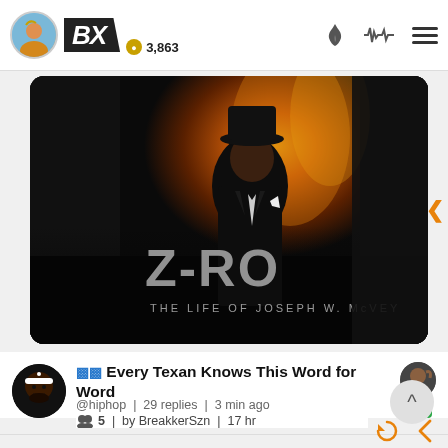BX | 3,863
[Figure (photo): Z-RO album cover: The Life of Joseph W. McVey. Man in black suit and hat standing in front of orange/fire background.]
Every Texan Knows This Word for Word
@hiphop | 29 replies | 3 min ago
5 | by BreakkerSzn | 17 hr